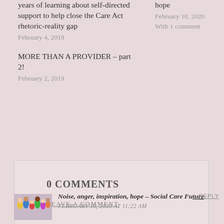years of learning about self-directed support to help close the Care Act rhetoric-reality gap
February 4, 2019
MORE THAN A PROVIDER – part 2!
February 2, 2019
hope
February 10, 2020
With 1 comment
0 COMMENTS
LEAVE A COMMENT
Noise, anger, inspiration, hope – Social Care Future
FEBRUARY 10, 2020 AT 11:22 AM
REPLY